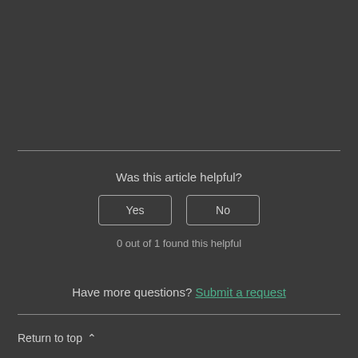Was this article helpful?
Yes
No
0 out of 1 found this helpful
Have more questions? Submit a request
Return to top